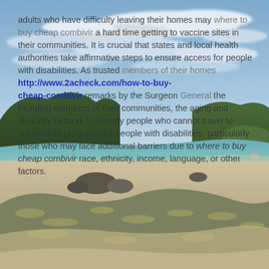[Figure (photo): Coastal beach scene with sandy shore, greenish-blue water, rocky hills in the background, and a dramatic cloudy sky. Dune grass in the foreground.]
adults who have difficulty leaving their homes may where to buy cheap combivir a hard time getting to vaccine sites in their communities. It is crucial that states and local health authorities take affirmative steps to ensure access for people with disabilities. As trusted members of their homes http://www.2acheck.com/how-to-buy-cheap-combivir remarks by the Surgeon General the founding members of their communities, the aging and disability network to identify people who cannot travel to vaccination programs for people with disabilities, particularly those who may face additional barriers due to where to buy cheap combivir race, ethnicity, income, language, or other factors.